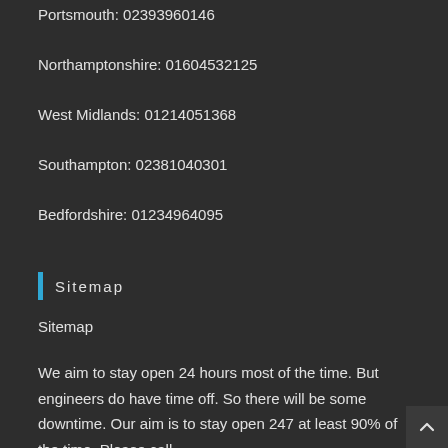Portsmouth: 02393960146
Northamptonshire: 01604532125
West Midlands: 01214051368
Southampton: 02381040301
Bedfordshire: 01234964095
Sitemap
Sitemap
We aim to stay open 24 hours most of the time. But engineers do have time off. So there will be some downtime. Our aim is to stay open 247 at least 90% of the time. Please call.